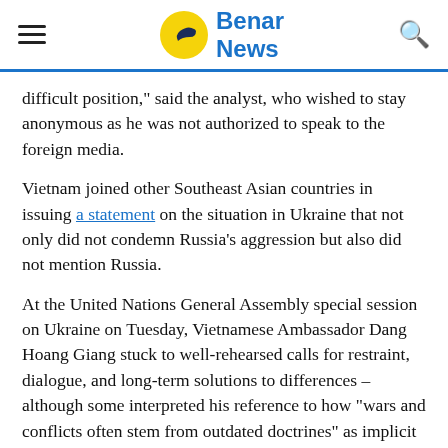Benar News
difficult position," said the analyst, who wished to stay anonymous as he was not authorized to speak to the foreign media.
Vietnam joined other Southeast Asian countries in issuing a statement on the situation in Ukraine that not only did not condemn Russia’s aggression but also did not mention Russia.
At the United Nations General Assembly special session on Ukraine on Tuesday, Vietnamese Ambassador Dang Hoang Giang stuck to well-rehearsed calls for restraint, dialogue, and long-term solutions to differences – although some interpreted his reference to how “wars and conflicts often stem from outdated doctrines” as implicit criticism of Putin.